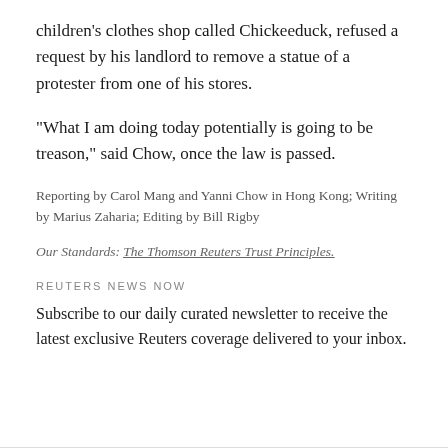children's clothes shop called Chickeeduck, refused a request by his landlord to remove a statue of a protester from one of his stores.
“What I am doing today potentially is going to be treason,” said Chow, once the law is passed.
Reporting by Carol Mang and Yanni Chow in Hong Kong; Writing by Marius Zaharia; Editing by Bill Rigby
Our Standards: The Thomson Reuters Trust Principles.
REUTERS NEWS NOW
Subscribe to our daily curated newsletter to receive the latest exclusive Reuters coverage delivered to your inbox.